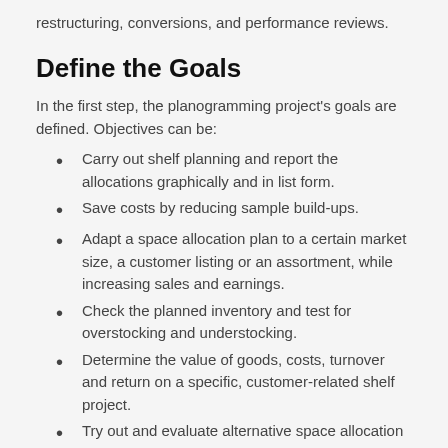restructuring, conversions, and performance reviews.
Define the Goals
In the first step, the planogramming project's goals are defined. Objectives can be:
Carry out shelf planning and report the allocations graphically and in list form.
Save costs by reducing sample build-ups.
Adapt a space allocation plan to a certain market size, a customer listing or an assortment, while increasing sales and earnings.
Check the planned inventory and test for overstocking and understocking.
Determine the value of goods, costs, turnover and return on a specific, customer-related shelf project.
Try out and evaluate alternative space allocation designs, increase the area performance.